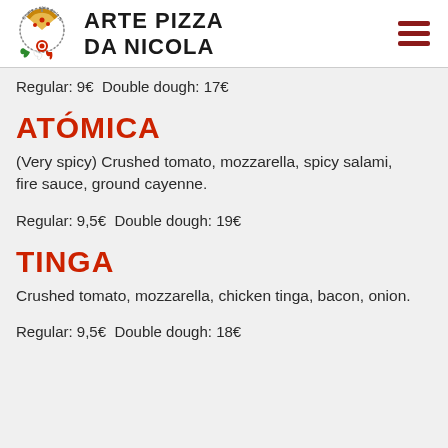Arte Pizza Da Nicola
Regular: 9€  Double dough: 17€
ATÓMICA
(Very spicy) Crushed tomato, mozzarella, spicy salami, fire sauce, ground cayenne.
Regular: 9,5€  Double dough: 19€
TINGA
Crushed tomato, mozzarella, chicken tinga, bacon, onion.
Regular: 9,5€  Double dough: 18€